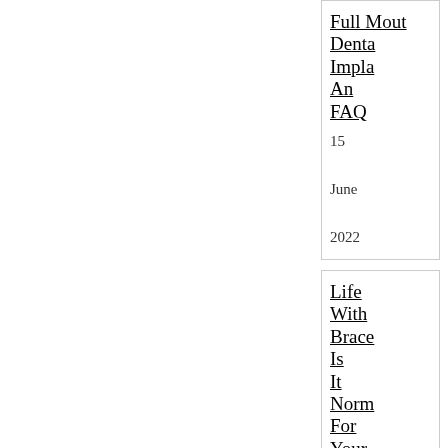Full Mouth Dental Implants An FAQ
15 June 2022
Life With Braces Is It Normal For Your Teeth To